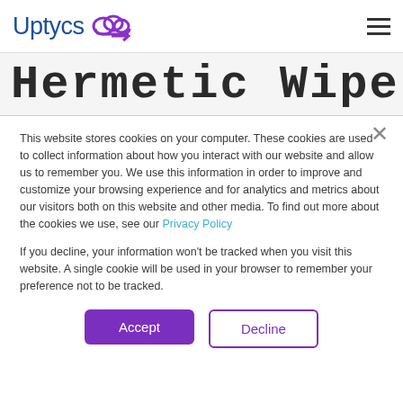Uptycs [logo with cloud icon]
Hermetic Wiper
This website stores cookies on your computer. These cookies are used to collect information about how you interact with our website and allow us to remember you. We use this information in order to improve and customize your browsing experience and for analytics and metrics about our visitors both on this website and other media. To find out more about the cookies we use, see our Privacy Policy
If you decline, your information won't be tracked when you visit this website. A single cookie will be used in your browser to remember your preference not to be tracked.
Accept
Decline